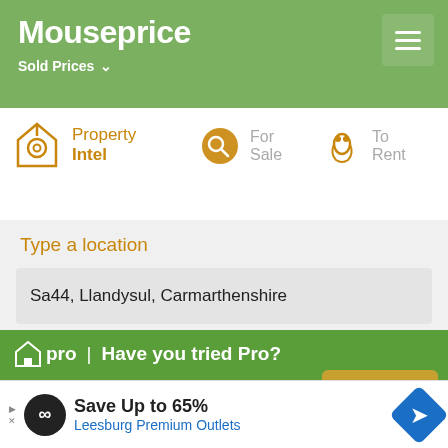Mouseprice
Sold Prices
[Figure (screenshot): Mouseprice website navigation with Property Intel, For Sale, To Rent tabs]
Type a location
Sa44, Llandysul, Carmarthenshire
pro | Have you tried Pro?
Mouseprice Pro is the UKs leading property data, analytics, and reporting package.
Start Free Trial
[Figure (screenshot): Advertisement banner: Save Up to 65% Leesburg Premium Outlets]